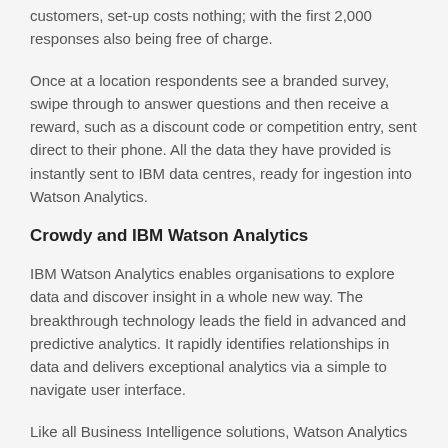customers, set-up costs nothing; with the first 2,000 responses also being free of charge.
Once at a location respondents see a branded survey, swipe through to answer questions and then receive a reward, such as a discount code or competition entry, sent direct to their phone. All the data they have provided is instantly sent to IBM data centres, ready for ingestion into Watson Analytics.
Crowdy and IBM Watson Analytics
IBM Watson Analytics enables organisations to explore data and discover insight in a whole new way. The breakthrough technology leads the field in advanced and predictive analytics. It rapidly identifies relationships in data and delivers exceptional analytics via a simple to navigate user interface.
Like all Business Intelligence solutions, Watson Analytics relies on high quality and comprehensive data input. In pursuit of this, Watson Analytics has built in tools to explore and refine data, helping users improve data quality and gain deeper insights. What it